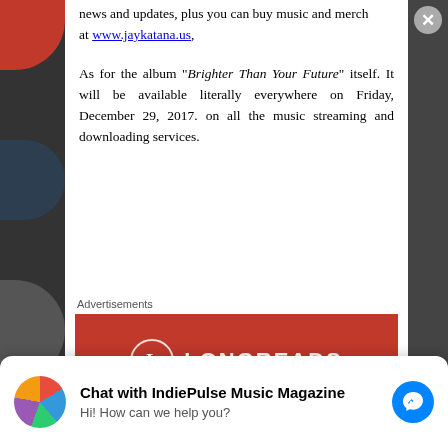news and updates, plus you can buy music and merch at www.jaykatana.us,
As for the album “Brighter Than Your Future” itself. It will be available literally everywhere on Friday, December 29, 2017. on all the music streaming and downloading services.
Advertisements
[Figure (logo): Longreads advertisement banner with red background, Longreads logo with circle L and decorative lines]
Chat with IndiePulse Music Magazine
Hi! How can we help you?